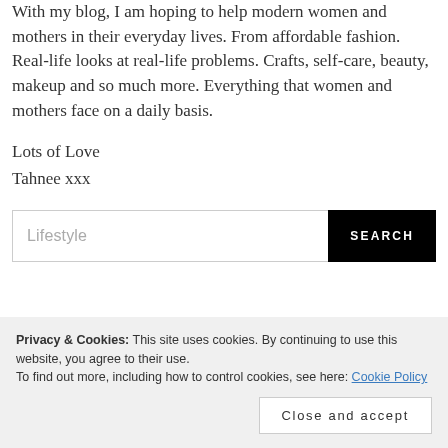With my blog, I am hoping to help modern women and mothers in their everyday lives. From affordable fashion. Real-life looks at real-life problems. Crafts, self-care, beauty, makeup and so much more. Everything that women and mothers face on a daily basis.
Lots of Love
Tahnee xxx
Lifestyle [search box] SEARCH
Privacy & Cookies: This site uses cookies. By continuing to use this website, you agree to their use.
To find out more, including how to control cookies, see here: Cookie Policy
Close and accept